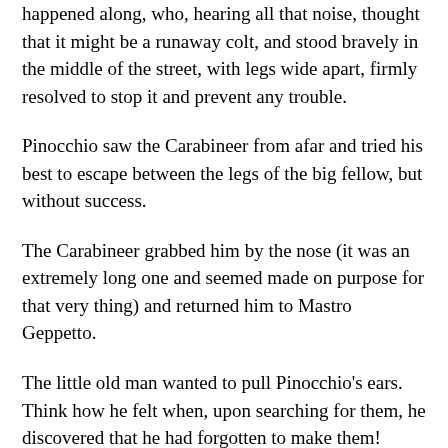happened along, who, hearing all that noise, thought that it might be a runaway colt, and stood bravely in the middle of the street, with legs wide apart, firmly resolved to stop it and prevent any trouble.
Pinocchio saw the Carabineer from afar and tried his best to escape between the legs of the big fellow, but without success.
The Carabineer grabbed him by the nose (it was an extremely long one and seemed made on purpose for that very thing) and returned him to Mastro Geppetto.
The little old man wanted to pull Pinocchio's ears. Think how he felt when, upon searching for them, he discovered that he had forgotten to make them!